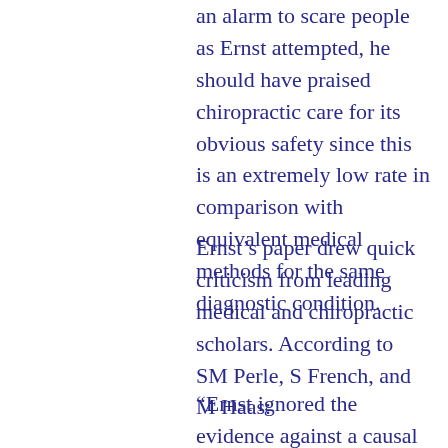an alarm to scare people as Ernst attempted, he should have praised chiropractic care for its obvious safety since this is an extremely low rate in comparison with equivalent medical methods for the same diagnostic condition.
Ernst's paper drew quick criticism from leading medical and chiropractic scholars. According to SM Perle, S French, and M Haas:
“Ernst ignored the evidence against a causal relation between spinal manipulation and death. Instead, he went boldly along a path of fear mongering and propaganda that we